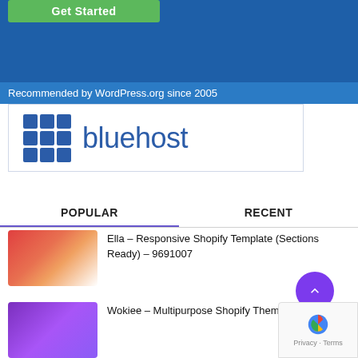[Figure (screenshot): Bluehost advertisement banner with green Get Started button and blue background]
[Figure (logo): Bluehost logo with blue grid icon and wordmark on white background]
POPULAR
RECENT
[Figure (screenshot): Ella Responsive Shopify Template thumbnail image]
Ella – Responsive Shopify Template (Sections Ready) – 9691007
[Figure (screenshot): Wokiee Multipurpose Shopify Theme thumbnail image]
Wokiee – Multipurpose Shopify Theme – 22559417
[Figure (screenshot): Vuexy Vuejs React Angular HTML Laravel Dashboard Template thumbnail]
Vuexy – Vuejs, React, Angular, HTML & Laravel Dashboard Template – 23328599